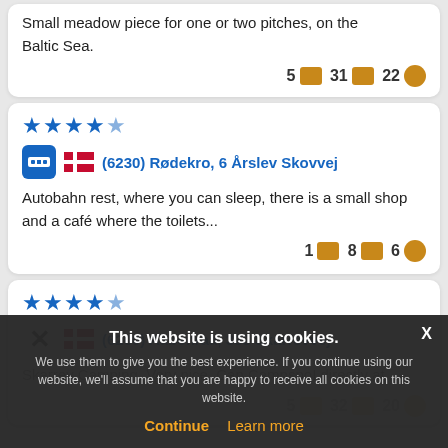Small meadow piece for one or two pitches, on the Baltic Sea.
5 31 22
(6230) Rødekro, 6 Årslev Skovvej
Autobahn rest, where you can sleep, there is a small shop and a café where the toilets...
1 8 6
(6200) Aabenraa, 333 Skarrevvej
Skarrev Camping. Very nice. Can Camp directly at...
5 32 20
This website is using cookies. We use them to give you the best experience. If you continue using our website, we'll assume that you are happy to receive all cookies on this website.
Continue  Learn more